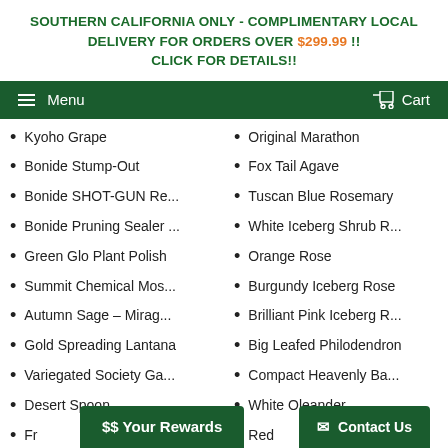SOUTHERN CALIFORNIA ONLY - COMPLIMENTARY LOCAL DELIVERY FOR ORDERS OVER $299.99 !! CLICK FOR DETAILS!!
Menu   Cart
Kyoho Grape
Original Marathon
Bonide Stump-Out
Fox Tail Agave
Bonide SHOT-GUN Re...
Tuscan Blue Rosemary
Bonide Pruning Sealer ...
White Iceberg Shrub R...
Green Glo Plant Polish
Orange Rose
Summit Chemical Mos...
Burgundy Iceberg Rose
Autumn Sage – Mirag...
Brilliant Pink Iceberg R...
Gold Spreading Lantana
Big Leafed Philodendron
Variegated Society Ga...
Compact Heavenly Ba...
Desert Spoon
White Oleander
Fr...
Red